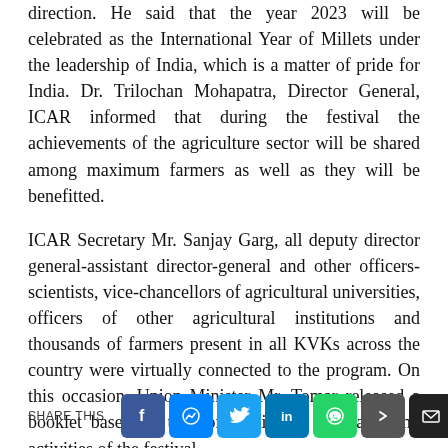direction. He said that the year 2023 will be celebrated as the International Year of Millets under the leadership of India, which is a matter of pride for India. Dr. Trilochan Mohapatra, Director General, ICAR informed that during the festival the achievements of the agriculture sector will be shared among maximum farmers as well as they will be benefitted.
ICAR Secretary Mr. Sanjay Garg, all deputy director general-assistant director-general and other officers-scientists, vice-chancellors of agricultural universities, officers of other agricultural institutions and thousands of farmers present in all KVKs across the country were virtually connected to the program. On this occasion, Union Minister Mr. Tomar released a booklet based on the compilation of programs and activities of the festival.
SHARE THIS [Facebook] [Messenger] [Twitter] [LinkedIn] [WhatsApp] [More] [Email]